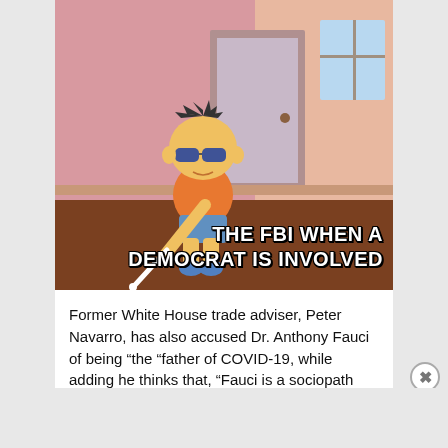[Figure (illustration): Animated meme image showing Bart Simpson wearing sunglasses and using a white cane as if blind, set in an indoor scene with pink walls and wooden floors. Overlaid bold white text reads 'THE FBI WHEN A DEMOCRAT IS INVOLVED'.]
Former White House trade adviser, Peter Navarro, has also accused Dr. Anthony Fauci of being “the “father of COVID-19, while adding he thinks that, “Fauci is a sociopath and a liar.”
Advertisements